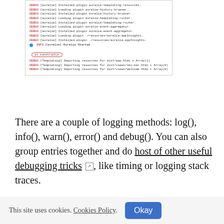[Figure (screenshot): Browser developer console screenshot showing debug log lines for aurelia plugin loading, with a highlighted 'in constructor' tag circled in red and a blue dot indicator row. Lines include loading/installing aurelia plugins and templating resource imports.]
There are a couple of logging methods: log(), info(), warn(), error() and debug(). You can also group entries together and do host of other useful debugging tricks [icon], like timing or logging stack traces.
Logging an Object
Beside simply logging a string message you can also log an object. I found this really useful to inspect objects I was
This site uses cookies. Cookies Policy. Okay